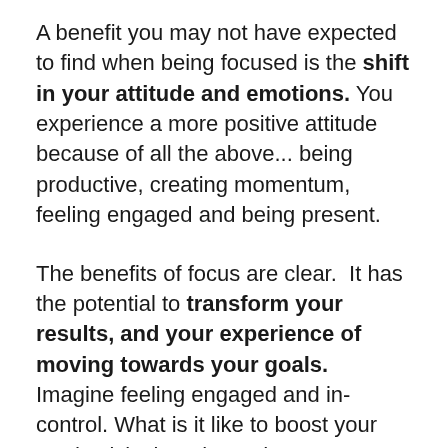A benefit you may not have expected to find when being focused is the shift in your attitude and emotions. You experience a more positive attitude because of all the above... being productive, creating momentum, feeling engaged and being present.
The benefits of focus are clear. It has the potential to transform your results, and your experience of moving towards your goals. Imagine feeling engaged and in-control. What is it like to boost your productivity but also reduce your stress?